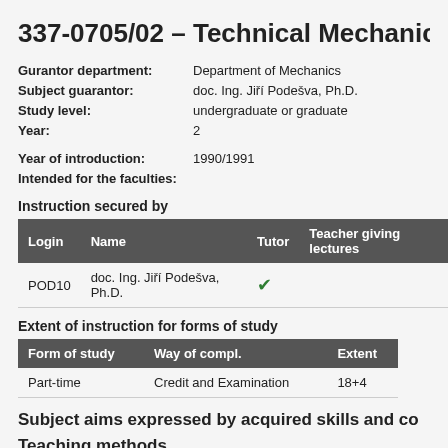337-0705/02 – Technical Mechanics (T…
| Gurantor department: | Department of Mechanics |
| Subject guarantor: | doc. Ing. Jiří Podešva, Ph.D. |
| Study level: | undergraduate or graduate |
| Year: | 2 |
| Year of introduction: | 1990/1991 |
| Intended for the faculties: |  |
Instruction secured by
| Login | Name | Tutor | Teacher giving lectures |
| --- | --- | --- | --- |
| POD10 | doc. Ing. Jiří Podešva, Ph.D. | ✔ |  |
Extent of instruction for forms of study
| Form of study | Way of compl. | Extent |
| --- | --- | --- |
| Part-time | Credit and Examination | 18+4 |
Subject aims expressed by acquired skills and co…
Teaching methods